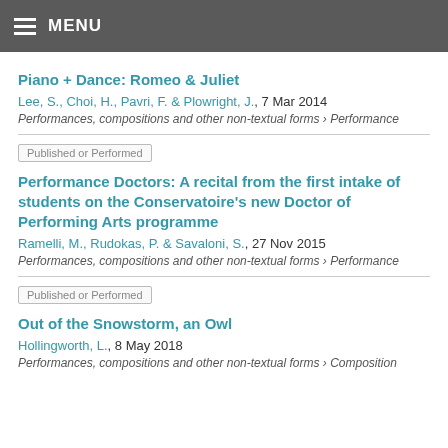MENU
Piano + Dance: Romeo & Juliet
Lee, S., Choi, H., Pavri, F. & Plowright, J., 7 Mar 2014
Performances, compositions and other non-textual forms › Performance
Published or Performed
Performance Doctors: A recital from the first intake of students on the Conservatoire's new Doctor of Performing Arts programme
Ramelli, M., Rudokas, P. & Savaloni, S., 27 Nov 2015
Performances, compositions and other non-textual forms › Performance
Published or Performed
Out of the Snowstorm, an Owl
Hollingworth, L., 8 May 2018
Performances, compositions and other non-textual forms › Composition